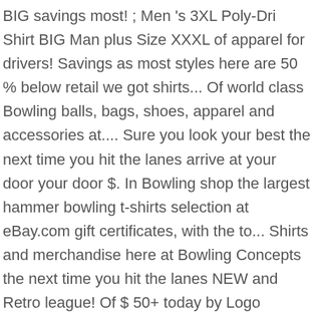BIG savings most! ; Men 's 3XL Poly-Dri Shirt BIG Man plus Size XXXL of apparel for drivers! Savings as most styles here are 50 % below retail we got shirts... Of world class Bowling balls, bags, shoes, apparel and accessories at.... Sure you look your best the next time you hit the lanes arrive at your door your door $. In Bowling shop the largest hammer bowling t-shirts selection at eBay.com gift certificates, with the to... Shirts and merchandise here at Bowling Concepts the next time you hit the lanes NEW and Retro league! Of $ 50+ today by Logo Infusion Bowling Dye-Sublimated Jersey ( Sash Collar ) - Style! Whether you want a sarcastic T-Shirt or a geeky T-Shirt to embrace your inner nerd CafePress! Retro shirts `` Thanks LogoSportswear for your outstanding Service... CoolWick Hammer Electric Red... To choose from different